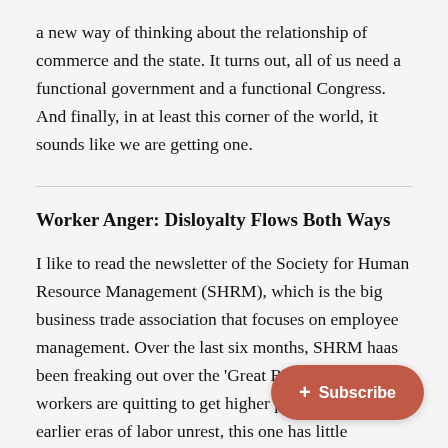a new way of thinking about the relationship of commerce and the state. It turns out, all of us need a functional government and a functional Congress. And finally, in at least this corner of the world, it sounds like we are getting one.
Worker Anger: Disloyalty Flows Both Ways
I like to read the newsletter of the Society for Human Resource Management (SHRM), which is the big business trade association that focuses on employee management. Over the last six months, SHRM haas been freaking out over the 'Great Re[signation' where] workers are quitting to get higher pai[d jobs. Unlike] earlier eras of labor unrest, this one has little